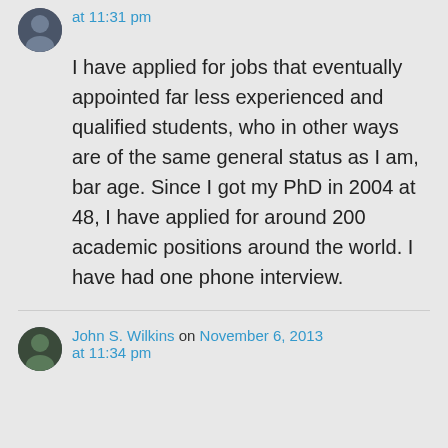at 11:31 pm
I have applied for jobs that eventually appointed far less experienced and qualified students, who in other ways are of the same general status as I am, bar age. Since I got my PhD in 2004 at 48, I have applied for around 200 academic positions around the world. I have had one phone interview.
John S. Wilkins on November 6, 2013 at 11:34 pm